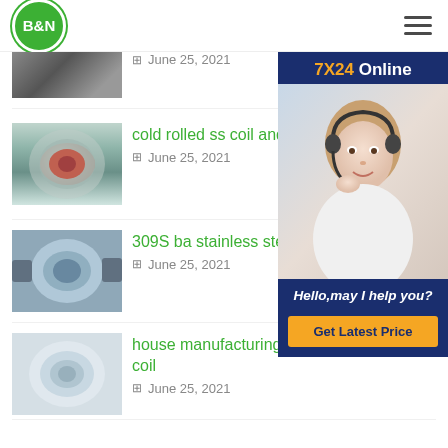B&N
[Figure (photo): Partial view of a dark metallic product with date June 25, 2021]
June 25, 2021
[Figure (photo): Silver steel coil roll with red core]
cold rolled ss coil and company
June 25, 2021
[Figure (photo): Customer service representative with headset - 7X24 Online sidebar]
[Figure (photo): Steel coil machinery product image]
309S ba stainless ste…
June 25, 2021
[Figure (photo): Shiny galvanized steel coil]
house manufacturing sa283 grade c steel coil
June 25, 2021